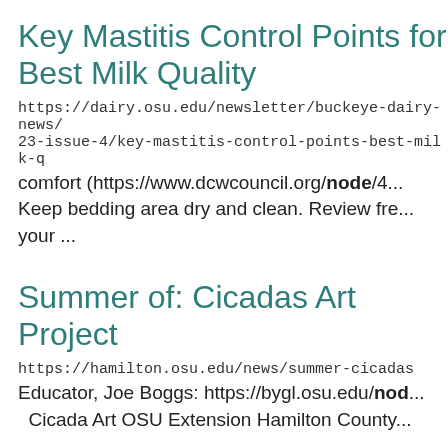Key Mastitis Control Points for Best Milk Quality
https://dairy.osu.edu/newsletter/buckeye-dairy-news/23-issue-4/key-mastitis-control-points-best-milk-q
comfort (https://www.dcwcouncil.org/node/4... Keep bedding area dry and clean. Review fre... your ...
Summer of: Cicadas Art Project
https://hamilton.osu.edu/news/summer-cicadas
Educator, Joe Boggs: https://bygl.osu.edu/nod... Cicada Art OSU Extension Hamilton County...
Summer of: Cicadas